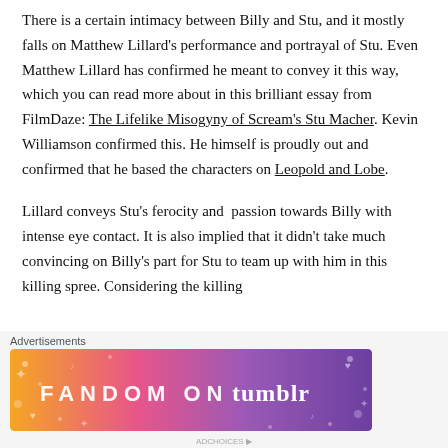There is a certain intimacy between Billy and Stu, and it mostly falls on Matthew Lillard's performance and portrayal of Stu. Even Matthew Lillard has confirmed he meant to convey it this way, which you can read more about in this brilliant essay from FilmDaze: The Lifelike Misogyny of Scream's Stu Macher. Kevin Williamson confirmed this. He himself is proudly out and confirmed that he based the characters on Leopold and Lobe.
Lillard conveys Stu's ferocity and passion towards Billy with intense eye contact. It is also implied that it didn't take much convincing on Billy's part for Stu to team up with him in this killing spree. Considering the killing
Advertisements
[Figure (illustration): Fandom on Tumblr advertisement banner with colorful purple, orange and pink gradient background and white text reading FANDOM ON tumblr with decorative hearts and music note doodles]